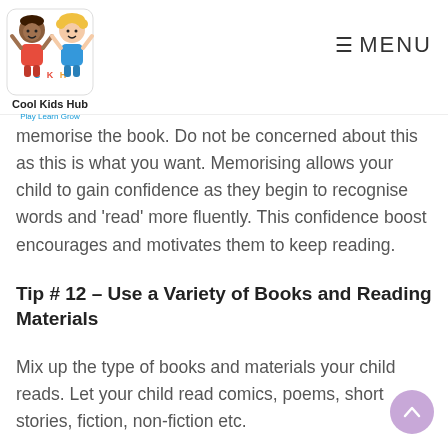Cool Kids Hub — Play Learn Grow | MENU
memorise the book. Do not be concerned about this as this is what you want. Memorising allows your child to gain confidence as they begin to recognise words and 'read' more fluently. This confidence boost encourages and motivates them to keep reading.
Tip # 12 – Use a Variety of Books and Reading Materials
Mix up the type of books and materials your child reads. Let your child read comics, poems, short stories, fiction, non-fiction etc.